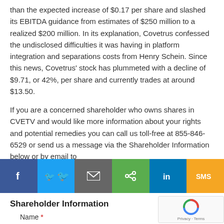than the expected increase of $0.17 per share and slashed its EBITDA guidance from estimates of $250 million to a realized $200 million. In its explanation, Covetrus confessed the undisclosed difficulties it was having in platform integration and separations costs from Henry Schein. Since this news, Covetrus' stock has plummeted with a decline of $9.71, or 42%, per share and currently trades at around $13.50.
If you are a concerned shareholder who owns shares in CVETV and would like more information about your rights and potential remedies you can call us toll-free at 855-846-6529 or send us a message via the Shareholder Information below or by email to
[Figure (other): Social sharing bar with icons for Facebook, Twitter, Email, Share, LinkedIn, and SMS]
Shareholder Information
Name *